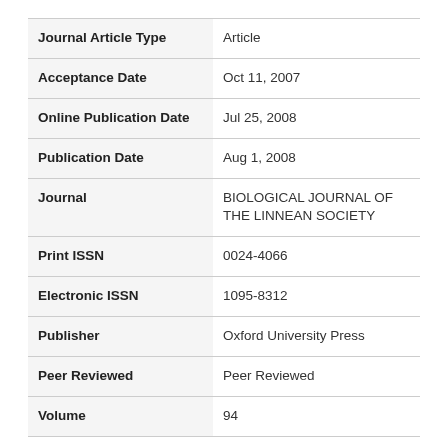| Field | Value |
| --- | --- |
| Journal Article Type | Article |
| Acceptance Date | Oct 11, 2007 |
| Online Publication Date | Jul 25, 2008 |
| Publication Date | Aug 1, 2008 |
| Journal | BIOLOGICAL JOURNAL OF THE LINNEAN SOCIETY |
| Print ISSN | 0024-4066 |
| Electronic ISSN | 1095-8312 |
| Publisher | Oxford University Press |
| Peer Reviewed | Peer Reviewed |
| Volume | 94 |